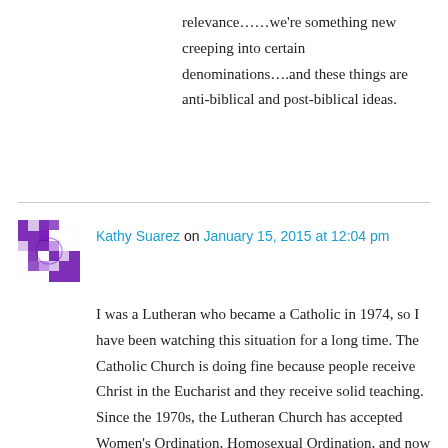relevance……we're something new creeping into certain denominations….and these things are anti-biblical and post-biblical ideas.
Kathy Suarez on January 15, 2015 at 12:04 pm
I was a Lutheran who became a Catholic in 1974, so I have been watching this situation for a long time. The Catholic Church is doing fine because people receive Christ in the Eucharist and they receive solid teaching. Since the 1970s, the Lutheran Church has accepted Women's Ordination, Homosexual Ordination, and now is beginning to perform same-sex weddings in their churches. This is the reason your church is having problems — it has nothing